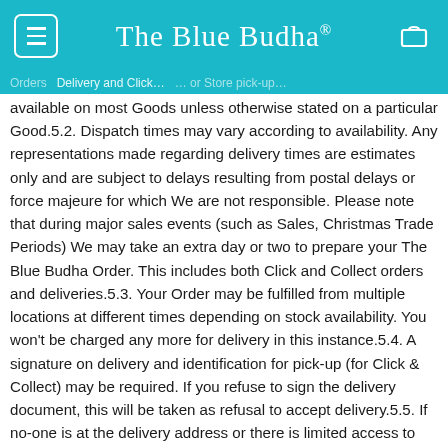The Blue Budha®
available on most Goods unless otherwise stated on a particular Good.5.2. Dispatch times may vary according to availability. Any representations made regarding delivery times are estimates only and are subject to delays resulting from postal delays or force majeure for which We are not responsible. Please note that during major sales events (such as Sales, Christmas Trade Periods) We may take an extra day or two to prepare your The Blue Budha Order. This includes both Click and Collect orders and deliveries.5.3. Your Order may be fulfilled from multiple locations at different times depending on stock availability. You won't be charged any more for delivery in this instance.5.4. A signature on delivery and identification for pick-up (for Click & Collect) may be required. If you refuse to sign the delivery document, this will be taken as refusal to accept delivery.5.5. If no-one is at the delivery address or there is limited access to the delivery address, and a signature is not required for the delivery, the Delivery Agent will leave a collection card with instructions on where to collect the Goods.5.6. For Big & Bulky deliveries, your Order will be referred to a delivery service